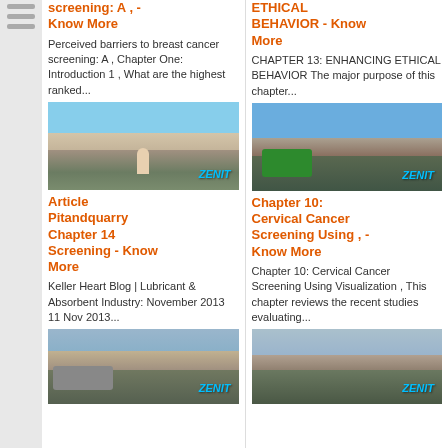[Figure (illustration): Sidebar with three horizontal gray lines indicating navigation menu]
screening: A , - Know More
Perceived barriers to breast cancer screening: A , Chapter One: Introduction 1 , What are the highest ranked...
[Figure (photo): Mining quarry site with machinery and a person standing in front, ZENIT watermark]
ETHICAL BEHAVIOR - Know More
CHAPTER 13: ENHANCING ETHICAL BEHAVIOR The major purpose of this chapter...
[Figure (photo): Mining/quarry site with green machinery and equipment, ZENIT watermark]
Article Pitandquarry Chapter 14 Screening - Know More
Keller Heart Blog | Lubricant & Absorbent Industry: November 2013 11 Nov 2013...
[Figure (photo): Industrial machinery/truck at a facility site, ZENIT watermark]
Chapter 10: Cervical Cancer Screening Using , - Know More
Chapter 10: Cervical Cancer Screening Using Visualization , This chapter reviews the recent studies evaluating...
[Figure (photo): Mining/quarrying equipment and conveyors, ZENIT watermark]